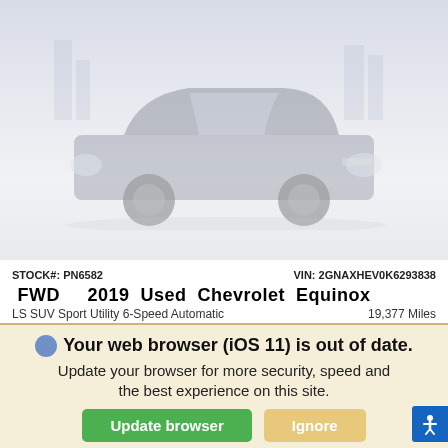[Figure (photo): Photograph of a dark grey 2019 Chevrolet Equinox SUV parked in front of a city skyline background]
STOCK#: PN6582   VIN: 2GNAXHEV0K6293838
FWD  2019 Used Chevrolet Equinox
LS SUV Sport Utility 6-Speed Automatic   19,377 Miles
RETAIL PRICE $26,228
SALE PRICE  $24,228
Your web browser (iOS 11) is out of date. Update your browser for more security, speed and the best experience on this site.
Update browser   Ignore